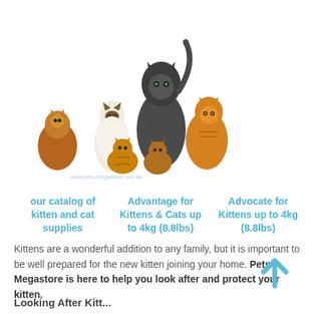[Figure (photo): Group of cats and kittens of various breeds and sizes posed together against a white background, with watermark 'www.pets-megastore.com.au' at the bottom]
our catalog of kitten and cat supplies
Advantage for Kittens & Cats up to 4kg (8.8lbs)
Advocate for Kittens up to 4kg (8.8lbs)
Kittens are a wonderful addition to any family, but it is important to be well prepared for the new kitten joining your home. Pets Megastore is here to help you look after and protect your kitten.
Looking After Kitt...